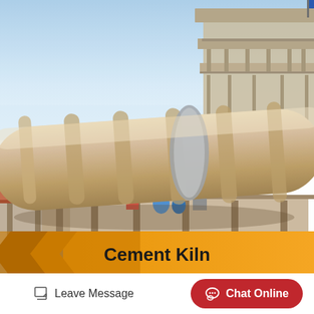[Figure (photo): Industrial cement kiln — a large rotating cylindrical drum extending diagonally across the image with concrete support structures and platforms. Blue sky background with industrial building/tower in the upper right. Large tan/beige cylindrical kiln runs from lower-left to upper-right with ribbed ring segments and a grey collar band.]
Cement Kiln
Leave Message
Chat Online